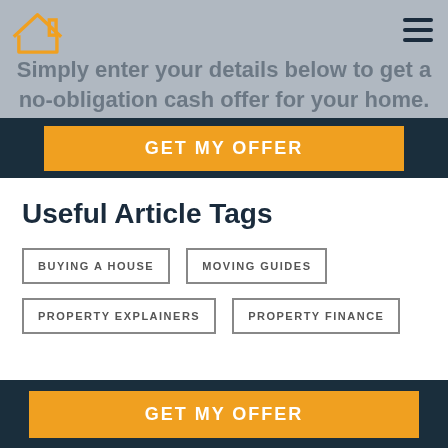[Figure (logo): Smooth Sale logo with orange house icon and text 'Smooth Sale']
Simply enter your details below to get a no-obligation cash offer for your home.
GET MY OFFER
Useful Article Tags
BUYING A HOUSE
MOVING GUIDES
PROPERTY EXPLAINERS
PROPERTY FINANCE
GET MY OFFER